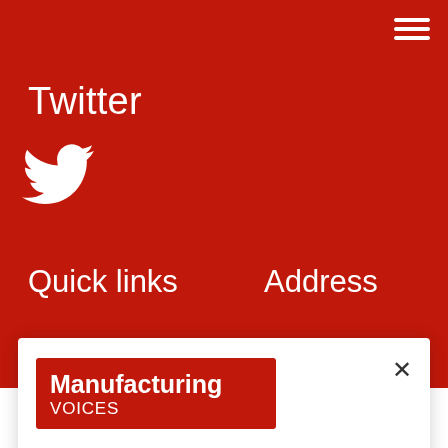Twitter
[Figure (illustration): Twitter bird logo in white on red background]
Quick links
Address
News
Manufacturing Voices
[Figure (logo): Manufacturing Voices logo — bold white text on red background]
This website uses cookies in order to improve the site and user experience. By continuing to use it, you agree to our Privacy Policy.
I understand